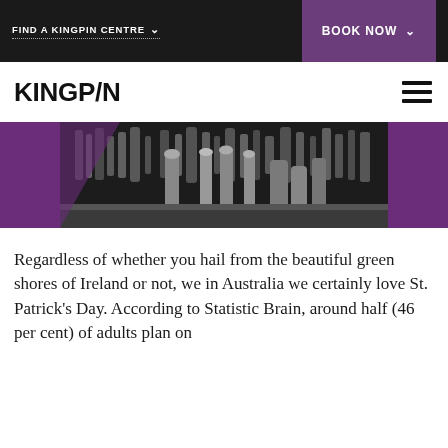FIND A KINGPIN CENTRE  BOOK NOW
KINGP/N
[Figure (photo): Black and white photo of a bar interior with beer taps and bottles, with purple accent panels on the sides]
Regardless of whether you hail from the beautiful green shores of Ireland or not, we in Australia we certainly love St. Patrick's Day. According to Statistic Brain, around half (46 per cent) of adults plan on